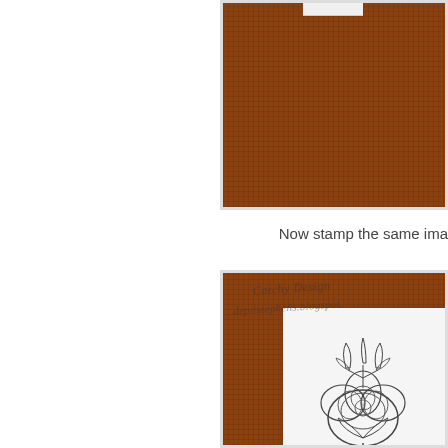[Figure (photo): Close-up photo of brown burlap/hessian fabric texture, cropped at top right of page]
Now stamp the same ima
[Figure (photo): Photo of brown burlap fabric with a white card on top showing a stamped floral image (rose/peony with leaves) in dark ink. Handwritten watermark text reads 'Catchy Design' and 'deptistephens.blogspot.' overlaid on the image.]